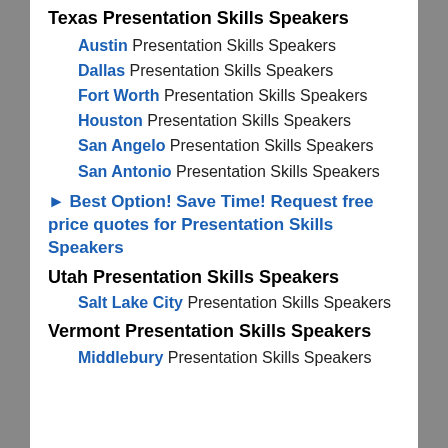Texas Presentation Skills Speakers
Austin Presentation Skills Speakers
Dallas Presentation Skills Speakers
Fort Worth Presentation Skills Speakers
Houston Presentation Skills Speakers
San Angelo Presentation Skills Speakers
San Antonio Presentation Skills Speakers
▶ Best Option! Save Time! Request free price quotes for Presentation Skills Speakers
Utah Presentation Skills Speakers
Salt Lake City Presentation Skills Speakers
Vermont Presentation Skills Speakers
Middlebury Presentation Skills Speakers